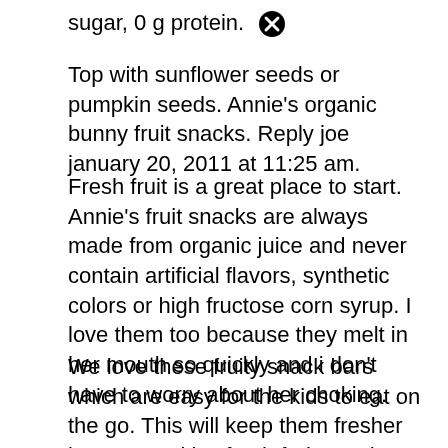sugar, 0 g protein. ✖
Top with sunflower seeds or pumpkin seeds. Annie's organic bunny fruit snacks. Reply joe january 20, 2011 at 11:25 am.
Fresh fruit is a great place to start. Annie's fruit snacks are always made from organic juice and never contain artificial flavors, synthetic colors or high fructose corn syrup. I love them too because they melt in her mouth so quickly and i don't have to worry about her choking.
We love these fruity snack bars which are easy for the kids to eat on the go. This will keep them fresher longer. Healthy, fresh fruit snack ideas for kids. ✖